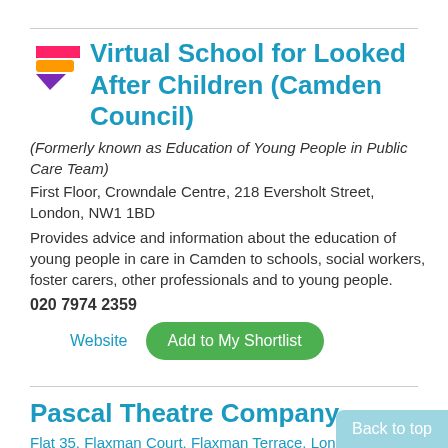Virtual School for Looked After Children (Camden Council)
(Formerly known as Education of Young People in Public Care Team)
First Floor, Crowndale Centre, 218 Eversholt Street, London, NW1 1BD
Provides advice and information about the education of young people in care in Camden to schools, social workers, foster carers, other professionals and to young people.
020 7974 2359
Website
Add to My Shortlist
Pascal Theatre Company
Flat 35, Flaxman Court, Flaxman Terrace, London